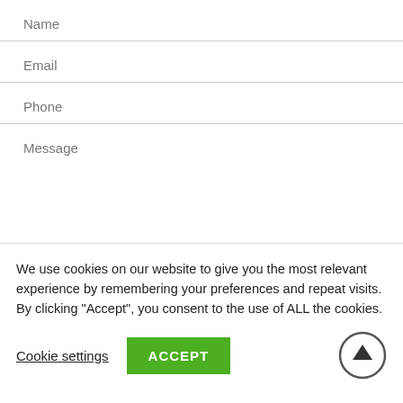Name
Email
Phone
Message
We use cookies on our website to give you the most relevant experience by remembering your preferences and repeat visits. By clicking “Accept”, you consent to the use of ALL the cookies.
Cookie settings
ACCEPT